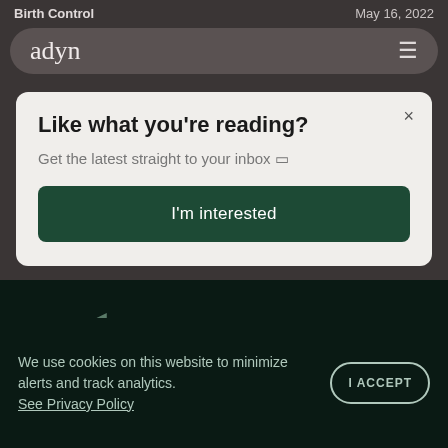Birth Control | May 16, 2022
[Figure (screenshot): adyn website navigation bar with logo and hamburger menu on rounded dark pill-shaped background]
Like what you're reading?
Get the latest straight to your inbox 🗅
I'm interested
We use cookies on this website to minimize alerts and track analytics. See Privacy Policy
I ACCEPT